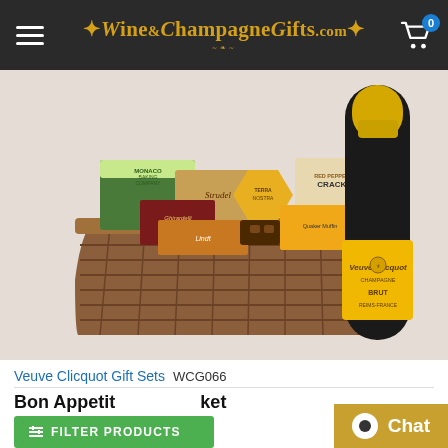Wine&ChampagneGifts.com
[Figure (photo): A wicker gift basket filled with various gourmet food items including Lindt chocolates, Ghirardelli products, Monaco Baking Company items, Strudel, Terra Nostra items, crackers, and other treats, alongside a bottle of Veuve Clicquot Brut Champagne with its distinctive yellow label.]
Veuve Clicquot Gift Sets  WCG066
Bon Appetit Basket with Clicquot Champagne